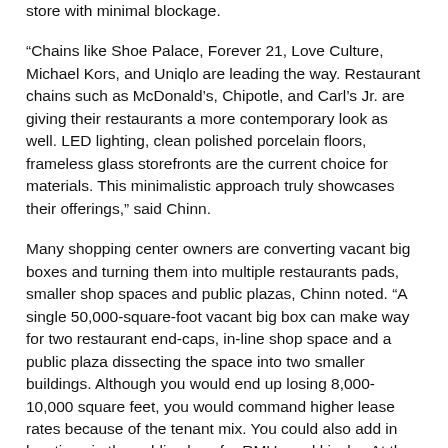store with minimal blockage.
“Chains like Shoe Palace, Forever 21, Love Culture, Michael Kors, and Uniqlo are leading the way. Restaurant chains such as McDonald’s, Chipotle, and Carl’s Jr. are giving their restaurants a more contemporary look as well. LED lighting, clean polished porcelain floors, frameless glass storefronts are the current choice for materials. This minimalistic approach truly showcases their offerings,” said Chinn.
Many shopping center owners are converting vacant big boxes and turning them into multiple restaurants pads, smaller shop spaces and public plazas, Chinn noted. “A single 50,000-square-foot vacant big box can make way for two restaurant end-caps, in-line shop space and a public plaza dissecting the space into two smaller buildings. Although you would end up losing 8,000-10,000 square feet, you would command higher lease rates because of the tenant mix. You could also add in locations in the public plaza for RMUs and kiosks. At the end of the transformation, you are actually netting more